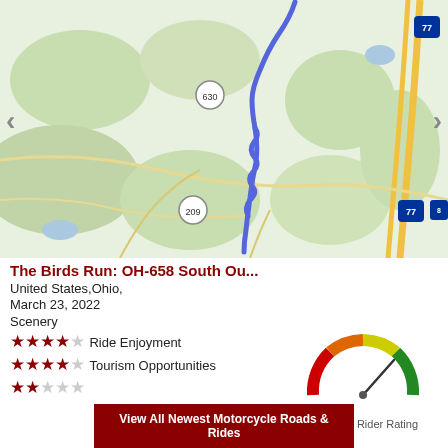[Figure (map): Google Maps view showing a motorcycle route along OH-658 South in Ohio, with a blue highlighted path running north-south near route 630 and 209, with Interstate 77 visible on the right side.]
The Birds Run: OH-658 South Ou...
United States,Ohio,
March 23, 2022
Scenery
★★★★☆ Ride Enjoyment
★★★★☆ Tourism Opportunities
★★☆☆☆
[Figure (infographic): Gauge/speedometer graphic showing a rating of 4 out of 5, with needle pointing toward the upper right in the green zone. Arc colored red, orange, yellow, green.]
4 out of 5 Rider Rating
View All Newest Motorcycle Roads & Rides